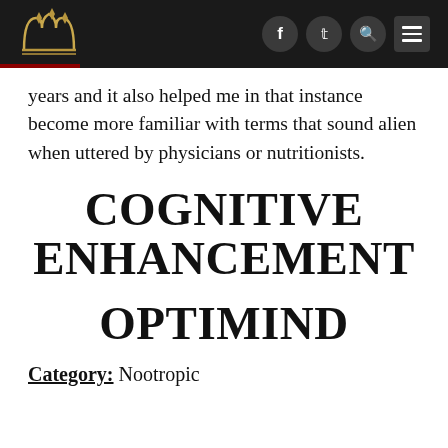[Logo] f t search menu
years and it also helped me in that instance become more familiar with terms that sound alien when uttered by physicians or nutritionists.
COGNITIVE ENHANCEMENT
OPTIMIND
Category: Nootropic